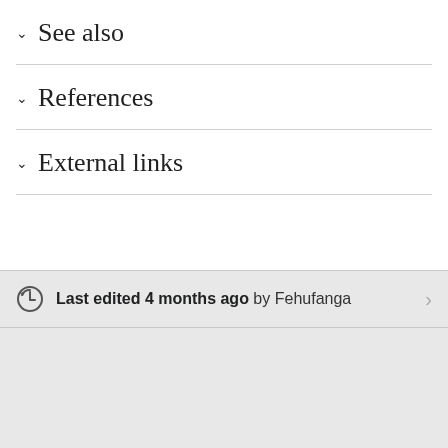See also
References
External links
Last edited 4 months ago by Fehufanga